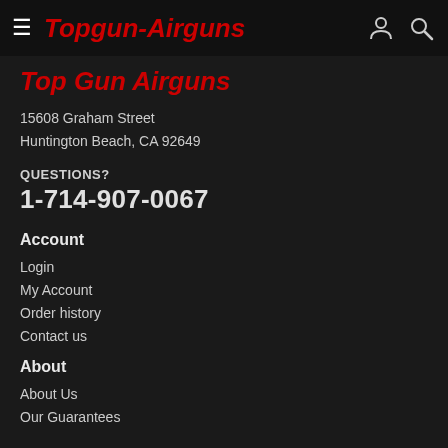≡ Topgun-Airguns
Top Gun Airguns
15608 Graham Street
Huntington Beach, CA 92649
QUESTIONS?
1-714-907-0067
Account
Login
My Account
Order history
Contact us
About
About Us
Our Guarantees